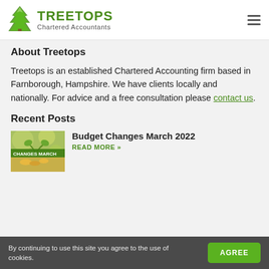[Figure (logo): Treetops Chartered Accountants logo with green tree icon and brand name]
About Treetops
Treetops is an established Chartered Accounting firm based in Farnborough, Hampshire. We have clients locally and nationally. For advice and a free consultation please contact us.
Recent Posts
[Figure (photo): Thumbnail image for Budget Changes March 2022 post showing plant growth and coins with green banner text CHANGES MARCH]
Budget Changes March 2022
READ MORE »
By continuing to use this site you agree to the use of cookies.